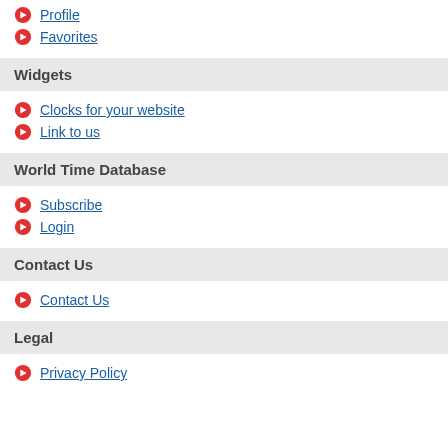Profile
Favorites
Widgets
Clocks for your website
Link to us
World Time Database
Subscribe
Login
Contact Us
Contact Us
Legal
Privacy Policy